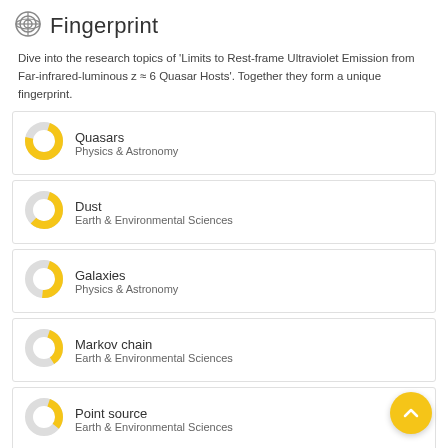Fingerprint
Dive into the research topics of 'Limits to Rest-frame Ultraviolet Emission from Far-infrared-luminous z ≈ 6 Quasar Hosts'. Together they form a unique fingerprint.
Quasars — Physics & Astronomy
Dust — Earth & Environmental Sciences
Galaxies — Physics & Astronomy
Markov chain — Earth & Environmental Sciences
Point source — Earth & Environmental Sciences